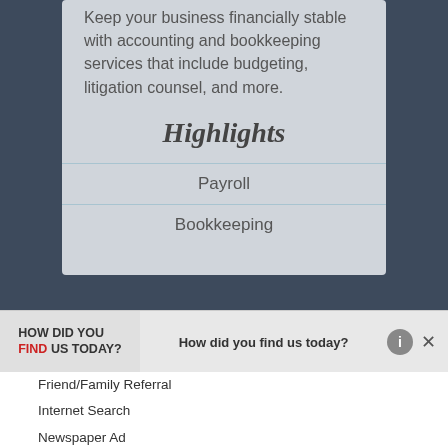Keep your business financially stable with accounting and bookkeeping services that include budgeting, litigation counsel, and more.
Highlights
Payroll
Bookkeeping
How did you find us today?
Friend/Family Referral
Internet Search
Newspaper Ad
Yellow Pages
Walk-by/Drive-by